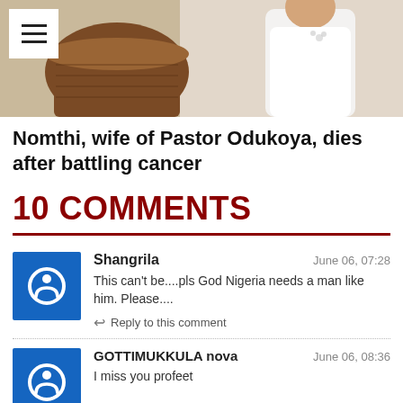[Figure (photo): Hero image showing a woman in white top and brown decorative pot/vase, with hamburger menu icon overlay in top-left corner]
Nomthi, wife of Pastor Odukoya, dies after battling cancer
10 COMMENTS
Shangrila — June 06, 07:28 — This can't be....pls God Nigeria needs a man like him. Please.... — Reply to this comment
GOTTIMUKKULA nova — June 06, 08:36 — I miss you profeet